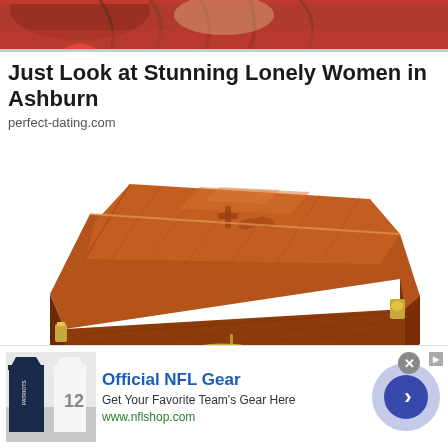[Figure (photo): Top banner showing partial image of woman with red clothing/background]
Just Look at Stunning Lonely Women in Ashburn
perfect-dating.com
[Figure (photo): Wooden coffin/casket with brass handles, brown wood grain finish, viewed from an angle showing the lid and side]
[Figure (photo): Ad banner: Official NFL Gear - photo of NFL jerseys (Patriots), Get Your Favorite Team's Gear Here, www.nflshop.com, with circular arrow button]